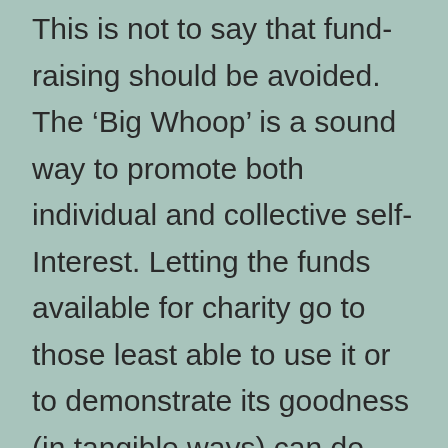This is not to say that fund-raising should be avoided. The 'Big Whoop' is a sound way to promote both individual and collective self-Interest. Letting the funds available for charity go to those least able to use it or to demonstrate its goodness (in tangible ways) can do wonders for the nation's security. At the same time, this approach should not blind us to the responsibilities of others in their ability to use and manage the financial resources for charity. The whole notion of giving and its underlying principles of self interest imply a divide that at times can bubble over into enmity. This may last uncomplicated through